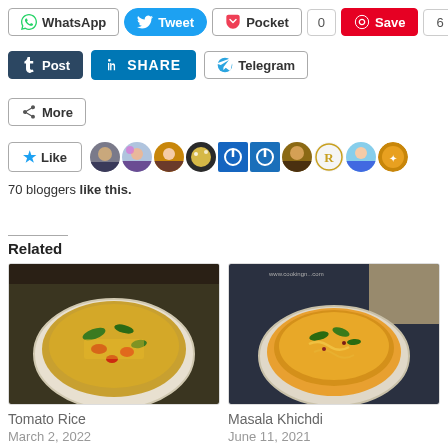[Figure (screenshot): Social share buttons row: WhatsApp, Tweet, Pocket (0), Save (6)]
[Figure (screenshot): Social share buttons row: Post (Tumblr), LinkedIn SHARE, Telegram]
[Figure (screenshot): More share button]
[Figure (screenshot): Like button with star icon and avatar strip of 70 bloggers]
70 bloggers like this.
Related
[Figure (photo): Tomato Rice dish in a white bowl on dark background]
Tomato Rice
March 2, 2022
In "Raita"
[Figure (photo): Masala Khichdi dish in a white bowl on dark background]
Masala Khichdi
June 11, 2021
In "Rice Varieties"